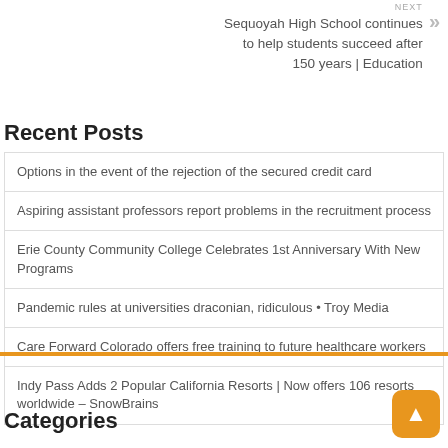NEXT
Sequoyah High School continues to help students succeed after 150 years | Education
Recent Posts
Options in the event of the rejection of the secured credit card
Aspiring assistant professors report problems in the recruitment process
Erie County Community College Celebrates 1st Anniversary With New Programs
Pandemic rules at universities draconian, ridiculous • Troy Media
Care Forward Colorado offers free training to future healthcare workers
Indy Pass Adds 2 Popular California Resorts | Now offers 106 resorts worldwide – SnowBrains
Categories